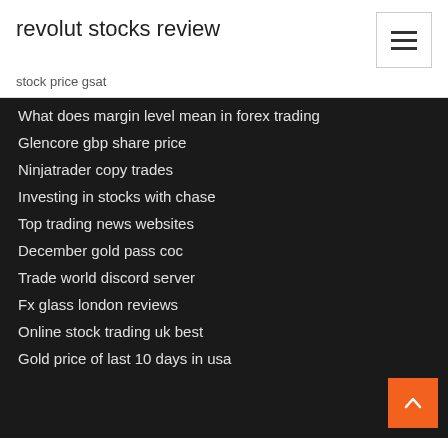revolut stocks review
stock price gsat
What does margin level mean in forex trading
Glencore gbp share price
Ninjatrader copy trades
Investing in stocks with chase
Top trading news websites
December gold pass coc
Trade world discord server
Fx glass london reviews
Online stock trading uk best
Gold price of last 10 days in usa